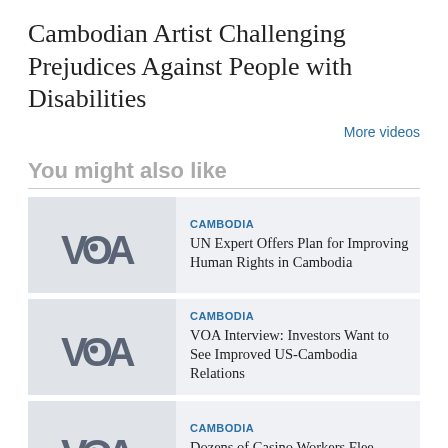Cambodian Artist Challenging Prejudices Against People with Disabilities
More videos
You might also like
[Figure (logo): VOA logo placeholder thumbnail]
CAMBODIA
UN Expert Offers Plan for Improving Human Rights in Cambodia
[Figure (logo): VOA logo placeholder thumbnail]
CAMBODIA
VOA Interview: Investors Want to See Improved US-Cambodia Relations
[Figure (logo): VOA logo placeholder thumbnail]
CAMBODIA
Dozens of Casino Workers Flee Cambodia...